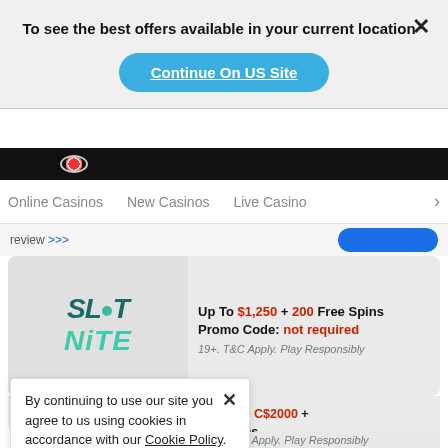To see the best offers available in your current location
Continue On US Site
Online Casinos  New Casinos  Live Casino
review »»
[Figure (logo): SlotNite Casino logo with teal letters]
Up To $1,250 + 200 Free Spins Promo Code: not required 19+. T&C Apply. Play Responsibly
Slatnite Casino review »» Visit Site
By continuing to use our site you agree to us using cookies in accordance with our Cookie Policy.
GOT IT
us up to C$2000 + ree Spins le: not required 19+. T&C Apply. Play Responsibly